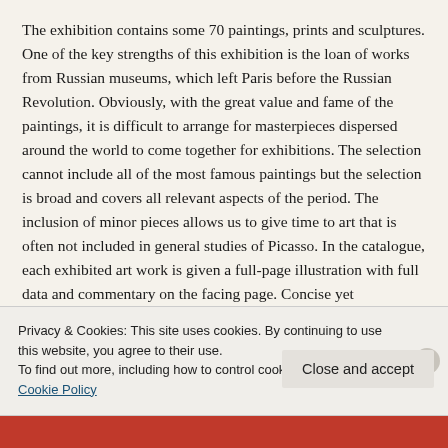The exhibition contains some 70 paintings, prints and sculptures. One of the key strengths of this exhibition is the loan of works from Russian museums, which left Paris before the Russian Revolution. Obviously, with the great value and fame of the paintings, it is difficult to arrange for masterpieces dispersed around the world to come together for exhibitions. The selection cannot include all of the most famous paintings but the selection is broad and covers all relevant aspects of the period. The inclusion of minor pieces allows us to give time to art that is often not included in general studies of Picasso. In the catalogue, each exhibited art work is given a full-page illustration with full data and commentary on the facing page. Concise yet informative summaries cover the development in the art and Picasso's life and career. There is an interview with John Richardson about Picasso's
Privacy & Cookies: This site uses cookies. By continuing to use this website, you agree to their use.
To find out more, including how to control cookies, see here: Cookie Policy
Close and accept